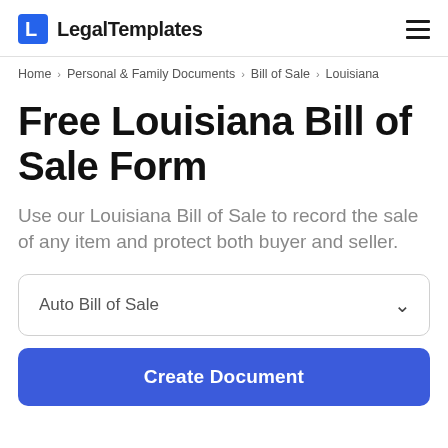LegalTemplates
Home > Personal & Family Documents > Bill of Sale > Louisiana
Free Louisiana Bill of Sale Form
Use our Louisiana Bill of Sale to record the sale of any item and protect both buyer and seller.
Auto Bill of Sale
Create Document